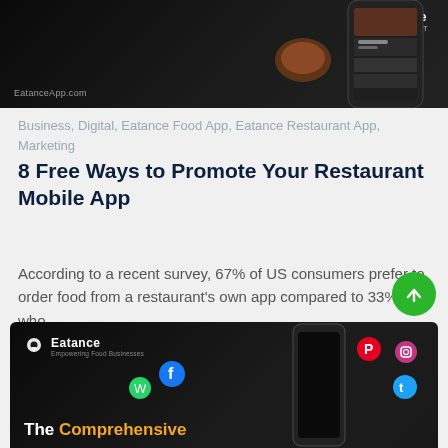[Figure (photo): Dark banner with Eatance Restaurant App branding and phone mockup showing food app interface. EatanceApp.com watermark on left.]
Business, Digital, Eatance Food App, Eatance Restaurant App, Marketing
8 Free Ways to Promote Your Restaurant Mobile App
According to a recent survey, 67% of US consumers prefer to order food from a restaurant's own app compared to 33% who...
Read More ↗
[Figure (photo): Dark banner with Eatance branding, social media icons (Facebook, WhatsApp, Pinterest, Instagram, Twitter), a smartphone, and partial text 'The Comprehensive' in white and orange.]